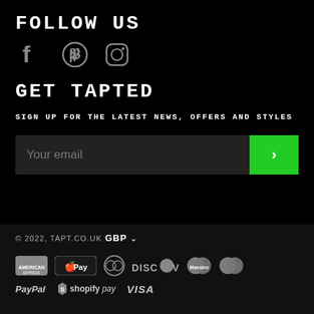FOLLOW US
[Figure (illustration): Social media icons: Facebook, Pinterest, Instagram]
GET TAPTED
SIGN UP FOR THE LATEST NEWS, OFFERS AND STYLES
[Figure (other): Email signup input field with green submit button showing chevron]
© 2022, TAPT.CO.UK
GBP
[Figure (illustration): Payment method logos: American Express, Apple Pay, Diners Club, Discover, Maestro, MasterCard, PayPal, Shopify Pay, Visa]